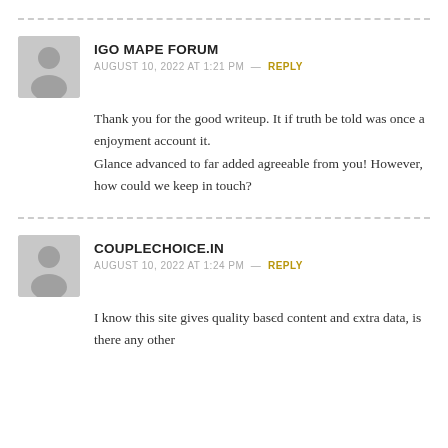IGO MAPE FORUM
AUGUST 10, 2022 AT 1:21 PM — REPLY
Thank you for the good writeup. It if truth be told was once a enjoyment account it. Glance advanced to far added agreeable from you! However, how could we keep in touch?
COUPLECHOICE.IN
AUGUST 10, 2022 AT 1:24 PM — REPLY
I know this site gives quality based content and extra data, is there any other